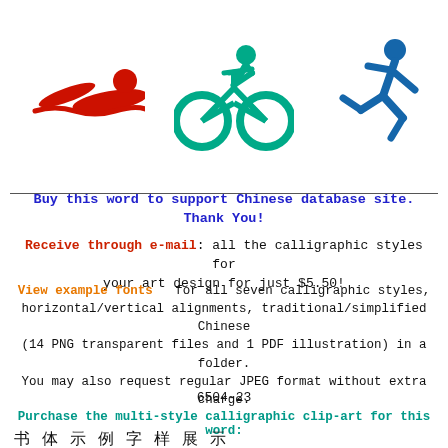[Figure (illustration): Three triathlon sport icons: a red swimmer, a teal cyclist, and a blue runner, arranged horizontally at the top of the page.]
Buy this word to support Chinese database site. Thank You!
Receive through e-mail: all the calligraphic styles for your art design for just $5.50!
View example fonts  for all seven calligraphic styles, horizontal/vertical alignments, traditional/simplified Chinese (14 PNG transparent files and 1 PDF illustration) in a folder. You may also request regular JPEG format without extra charge.
6504-23
Purchase the multi-style calligraphic clip-art for this word:
[Figure (illustration): Row of Chinese calligraphic characters in various styles at the bottom of the page.]